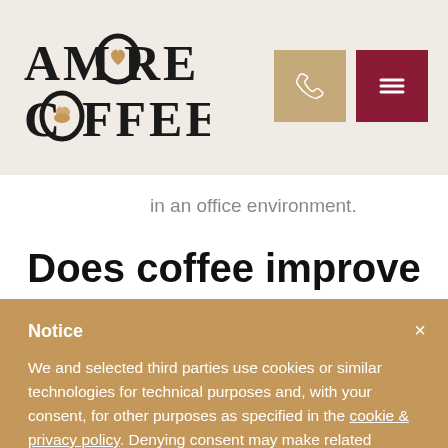[Figure (logo): Amore Coffee logo — large serif bold text 'AMORE COFFEE' with stylized O letters containing heart/coffee cup motifs]
[Figure (other): Phone icon button (tan/khaki square) and hamburger menu icon button (dark red square) in the top-right navigation area]
in an office environment.
Does coffee improve
Notice
We and selected third parties use cookies or similar technologies for technical purposes and, with your consent, for other purposes as specified in the cookie & privacy policy. Denying consent may make related features unavailable.
You can consent to the use of such technologies by closing this notice, by scrolling this page, by interacting with any link or button outside of this notice or by continuing to browse otherwise.